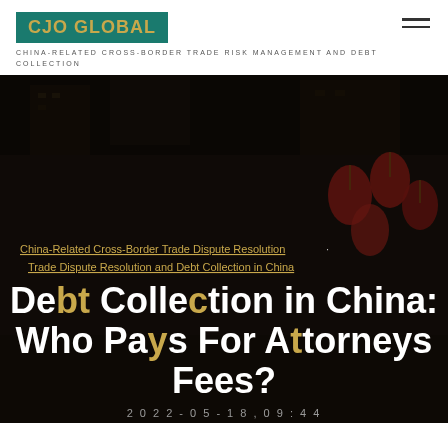CJO GLOBAL
CHINA-RELATED CROSS-BORDER TRADE RISK MANAGEMENT AND DEBT COLLECTION
[Figure (other): Dark nighttime street scene with red lanterns, serving as hero background image]
China-Related Cross-Border Trade Dispute Resolution · Trade Dispute Resolution and Debt Collection in China
Debt Collection in China: Who Pays For Attorneys Fees?
2022-05-18, 09:44